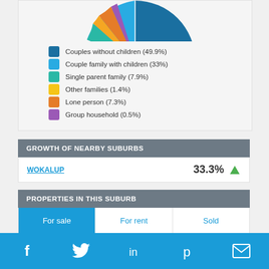[Figure (pie-chart): Household composition]
GROWTH OF NEARBY SUBURBS
WOKALUP  33.3% ▲
PROPERTIES IN THIS SUBURB
For sale | For rent | Sold
65 Uduc Road
Facebook  Twitter  LinkedIn  Pinterest  Email